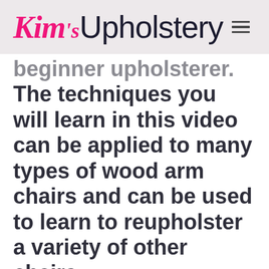Kim's Upholstery
beginner upholsterer. The techniques you will learn in this video can be applied to many types of wood arm chairs and can be used to learn to reupholster a variety of other chairs.